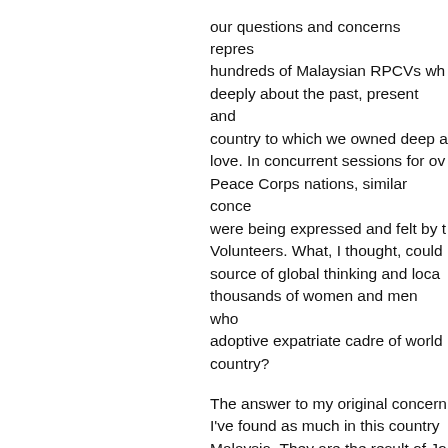our questions and concerns represents hundreds of Malaysian RPCVs who care deeply about the past, present and country to which we owned deep love. In concurrent sessions for over Peace Corps nations, similar concerns were being expressed and felt by the Volunteers. What, I thought, could be a source of global thinking and local action thousands of women and men who adoptive expatriate cadre of world country?

The answer to my original concern I've found as much in this country Malaysia. They are the result of John Kennedy's inspiration to articulate and grows with an ever-vibrant American spirit. Our two teenage daughters are committed becoming a part of that vision one cannot be more proud.